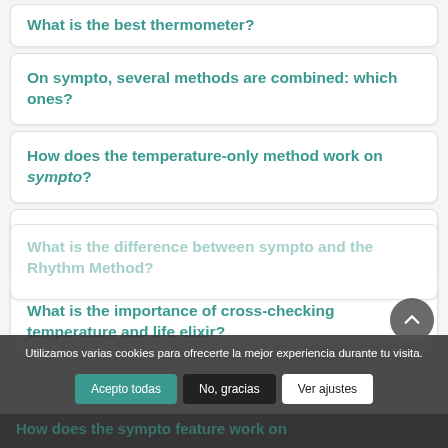What is the best thermometer?
On sympto, several methods are combined: which ones?
How does the temperature-only method work on sympto?
How does the Billings mode (elixir-only observation) work on sympto?
What is the importance of cross-checking temperature and life elixir?
Utilizamos varias cookies para ofrecerte la mejor experiencia durante tu visita.
Acepto todas | No, gracias | Ver ajustes